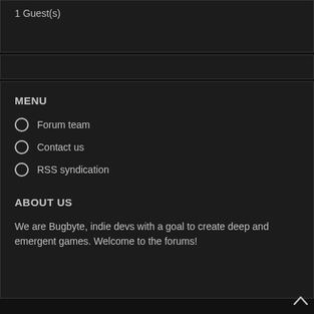1 Guest(s)
MENU
Forum team
Contact us
RSS syndication
ABOUT US
We are Bugbyte, indie devs with a goal to create deep and emergent games. Welcome to the forums!